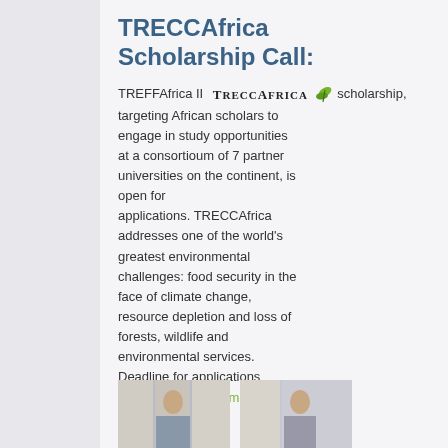TRECCAfrica Scholarship Call:
TREFFAfrica II  TRECCAfrica scholarship, targeting African scholars to engage in study opportunities at a consortioum of 7 partner universities on the continent, is open for applications. TRECCAfrica addresses one of the world's greatest environmental challenges: food security in the face of climate change, resource depletion and loss of forests, wildlife and environmental services. Deadline for applications March 26th. Read more:
[Figure (photo): Two portrait photos of people, partially visible at bottom of page]